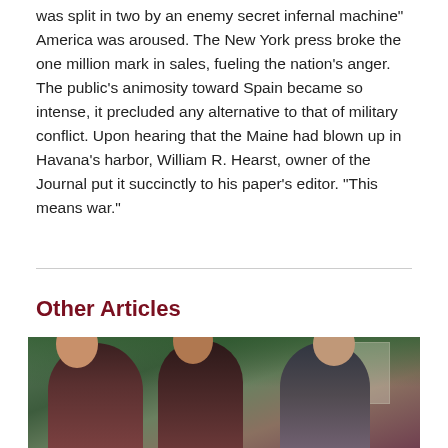was split in two by an enemy secret infernal machine" America was aroused. The New York press broke the one million mark in sales, fueling the nation's anger. The public's animosity toward Spain became so intense, it precluded any alternative to that of military conflict. Upon hearing that the Maine had blown up in Havana's harbor, William R. Hearst, owner of the Journal put it succinctly to his paper's editor. “This means war.”
Other Articles
[Figure (photo): A photograph of three people standing together outdoors, with trees and a building visible in the background.]